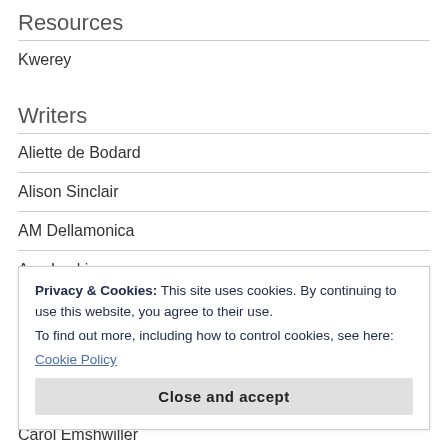Resources
Kwerey
Writers
Aliette de Bodard
Alison Sinclair
AM Dellamonica
Ann Leckie
Ann Tonsor Zeddies
Privacy & Cookies: This site uses cookies. By continuing to use this website, you agree to their use. To find out more, including how to control cookies, see here: Cookie Policy
Carol Emshwiller